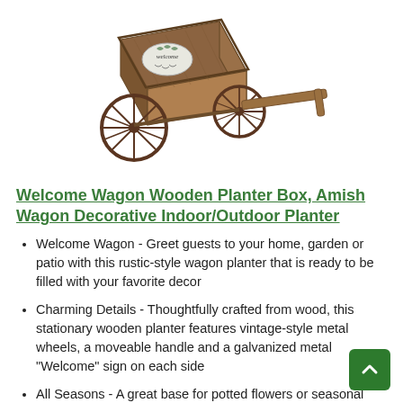[Figure (photo): A wooden wagon planter box with metal spoke wheels, a moveable handle extending to the right, and a galvanized metal 'Welcome' sign on the front. The wagon is made of brown wood with vintage-style details.]
Welcome Wagon Wooden Planter Box, Amish Wagon Decorative Indoor/Outdoor Planter
Welcome Wagon - Greet guests to your home, garden or patio with this rustic-style wagon planter that is ready to be filled with your favorite decor
Charming Details - Thoughtfully crafted from wood, this stationary wooden planter features vintage-style metal wheels, a moveable handle and a galvanized metal "Welcome" sign on each side
All Seasons - A great base for potted flowers or seasonal decor, this decorative wagon box can be